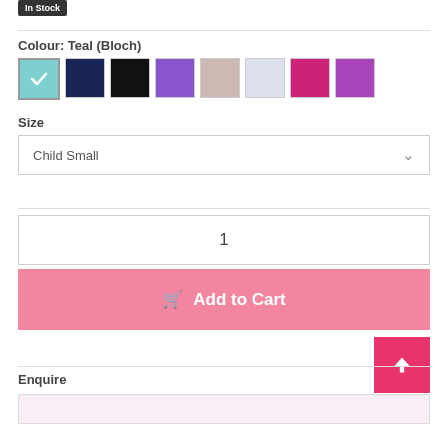In Stock
Colour: Teal (Bloch)
[Figure (other): Eight colour swatches: teal (selected with checkmark), navy, black, purple, dusty pink, lavender, hot pink, violet]
Size
Child Small
1
Add to Cart
Enquire